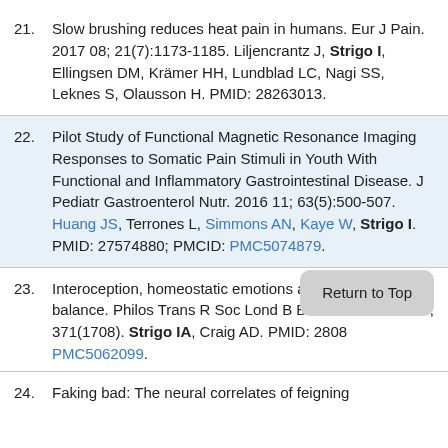21. Slow brushing reduces heat pain in humans. Eur J Pain. 2017 08; 21(7):1173-1185. Liljencrantz J, Strigo I, Ellingsen DM, Krämer HH, Lundblad LC, Nagi SS, Leknes S, Olausson H. PMID: 28263013.
22. Pilot Study of Functional Magnetic Resonance Imaging Responses to Somatic Pain Stimuli in Youth With Functional and Inflammatory Gastrointestinal Disease. J Pediatr Gastroenterol Nutr. 2016 11; 63(5):500-507. Huang JS, Terrones L, Simmons AN, Kaye W, Strigo I. PMID: 27574880; PMCID: PMC5074879.
23. Interoception, homeostatic emotions and sympathovagal balance. Philos Trans R Soc Lond B Biol Sci. 2016 11 19; 371(1708). Strigo IA, Craig AD. PMID: 28087… PMC5062099.
24. Faking bad: The neural correlates of feigning